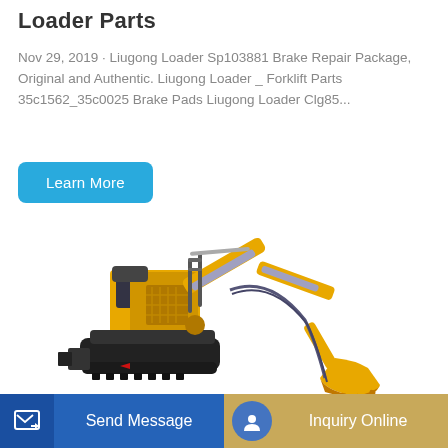Loader Parts
Nov 29, 2019 · Liugong Loader Sp103881 Brake Repair Package, Original and Authentic. Liugong Loader _ Forklift Parts 35c1562_35c0025 Brake Pads Liugong Loader Clg85...
[Figure (other): Blue rounded button with white text reading 'Learn More']
[Figure (photo): Yellow mini excavator with black tracks, hydraulic arm extended, on white background]
[Figure (other): Bottom navigation bar with blue 'Send Message' button on the left and gold 'Inquiry Online' button on the right]